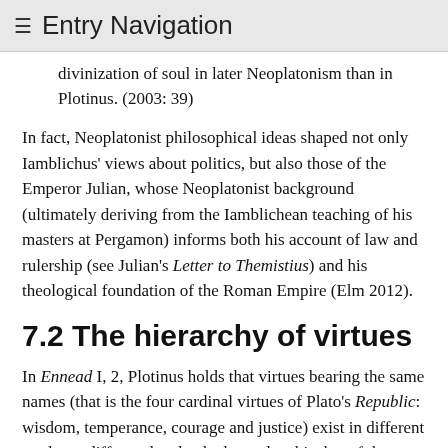≡ Entry Navigation
divinization of soul in later Neoplatonism than in Plotinus. (2003: 39)
In fact, Neoplatonist philosophical ideas shaped not only Iamblichus' views about politics, but also those of the Emperor Julian, whose Neoplatonist background (ultimately deriving from the Iamblichean teaching of his masters at Pergamon) informs both his account of law and rulership (see Julian's Letter to Themistius) and his theological foundation of the Roman Empire (Elm 2012).
7.2 The hierarchy of virtues
In Ennead I, 2, Plotinus holds that virtues bearing the same names (that is the four cardinal virtues of Plato's Republic: wisdom, temperance, courage and justice) exist in different grades at different levels: the lower level is that of the so-called civic or political virtues, whereas the higher degrees include the soul's purification and the result of it, that is the contemplation of Intellect on the part of the soul. In Sentence 32, Porphyry draws on